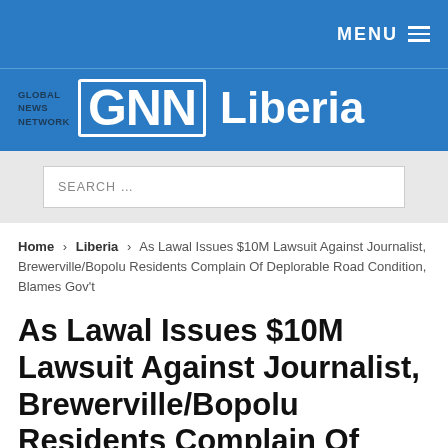MENU
[Figure (logo): Global News Network GNN Liberia logo on blue background]
SEARCH …
Home › Liberia › As Lawal Issues $10M Lawsuit Against Journalist, Brewerville/Bopolu Residents Complain Of Deplorable Road Condition, Blames Gov't
As Lawal Issues $10M Lawsuit Against Journalist, Brewerville/Bopolu Residents Complain Of Deplorable Road Condition, Blames Gov't